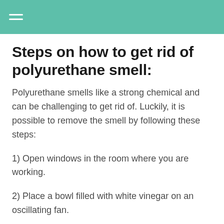Steps on how to get rid of polyurethane smell:
Polyurethane smells like a strong chemical and can be challenging to get rid of. Luckily, it is possible to remove the smell by following these steps:
1) Open windows in the room where you are working.
2) Place a bowl filled with white vinegar on an oscillating fan.
3) Leave for one hour.